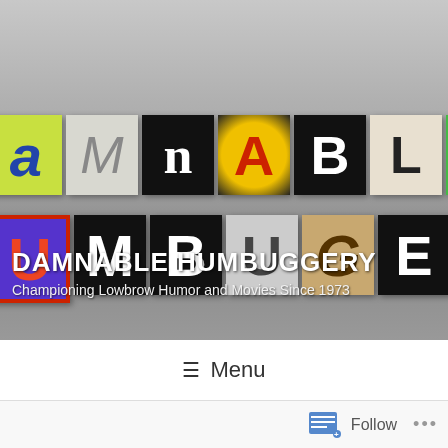[Figure (photo): Website header banner showing cut-out letter tiles spelling 'DAMNABLE HUMBUGGERY' on a gray background, with site title and tagline overlaid]
DAMNABLE HUMBUGGERY
Championing Lowbrow Humor and Movies Since 1973
☰ Menu
Follow